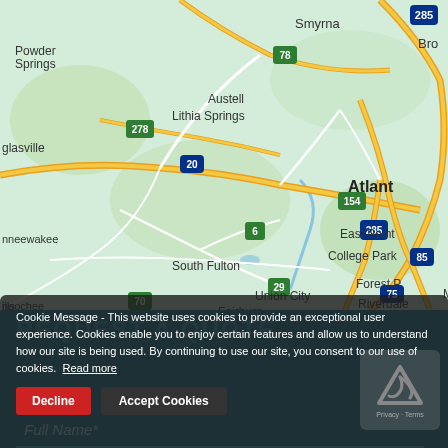[Figure (map): Google Maps view of Atlanta, Georgia metro area showing Smyrna, Powder Springs, Austell, Lithia Springs, Douglasville, East Point, College Park, South Fulton, Union City, Fairburn, Riverdale, Forest Park areas with interstate highways 285, 20, 85, 75 and routes 78, 278, 154, 6, 29, 70 visible.]
Cookie Message - This website uses cookies to provide an exceptional user experience. Cookies enable you to enjoy certain features and allow us to understand how our site is being used. By continuing to use our site, you consent to our use of cookies.
Read more
Decline
Accept Cookies
REQUEST A QUOTE
Full Name*